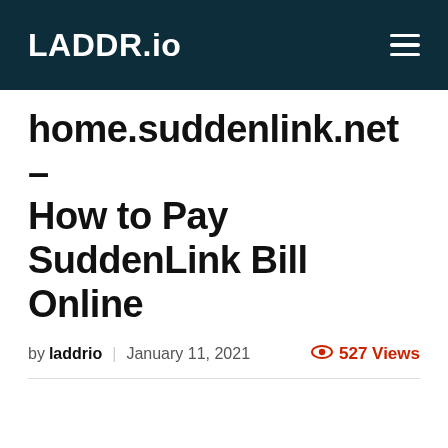LADDR.io
home.suddenlink.net – How to Pay SuddenLink Bill Online
by laddrio | January 11, 2021   527 Views